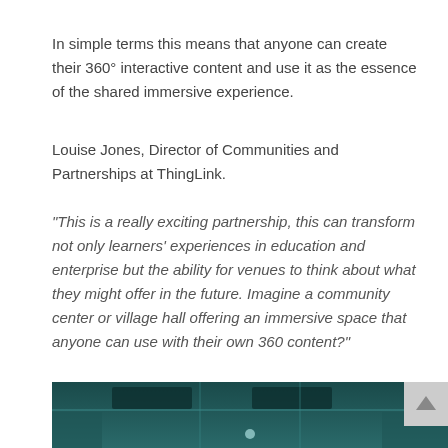In simple terms this means that anyone can create their 360° interactive content and use it as the essence of the shared immersive experience.
Louise Jones, Director of Communities and Partnerships at ThingLink.
“This is a really exciting partnership, this can transform not only learners’ experiences in education and enterprise but the ability for venues to think about what they might offer in the future. Imagine a community center or village hall offering an immersive space that anyone can use with their own 360 content?”
[Figure (photo): Interior photo of a room with a teal/dark tinted ceiling with ventilation panels, shot from below looking up. Partially cropped at the bottom of the page.]